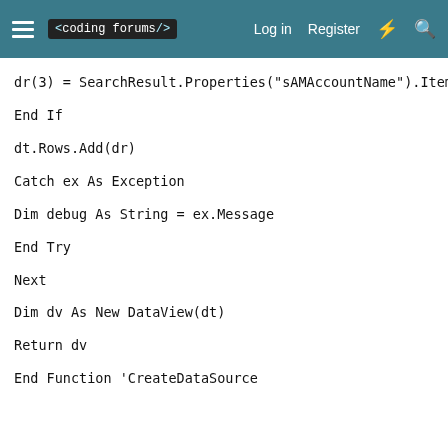< coding forums/>  Log in  Register
dr(3) = SearchResult.Properties("sAMAccountName").Item(0)

End If

dt.Rows.Add(dr)

Catch ex As Exception

Dim debug As String = ex.Message

End Try

Next

Dim dv As New DataView(dt)

Return dv

End Function 'CreateDataSource